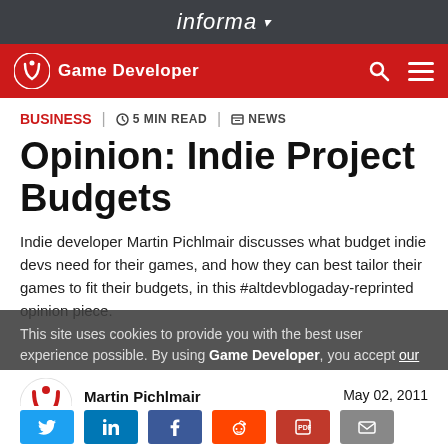informa
Game Developer
Business | 5 MIN READ | NEWS
Opinion: Indie Project Budgets
Indie developer Martin Pichlmair discusses what budget indie devs need for their games, and how they can best tailor their games to fit their budgets, in this #altdevblogaday-reprinted opinion piece.
This site uses cookies to provide you with the best user experience possible. By using Game Developer, you accept our use of cookies.
Martin Pichlmair
Blogger
May 02, 2011
Accept